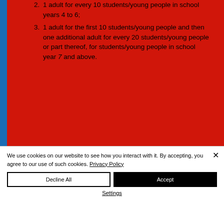1 adult for every 10 students/young people in school years 4 to 6;
1 adult for the first 10 students/young people and then one additional adult for every 20 students/young people or part thereof, for students/young people in school year 7 and above.
We use cookies on our website to see how you interact with it. By accepting, you agree to our use of such cookies. Privacy Policy
Decline All
Accept
Settings